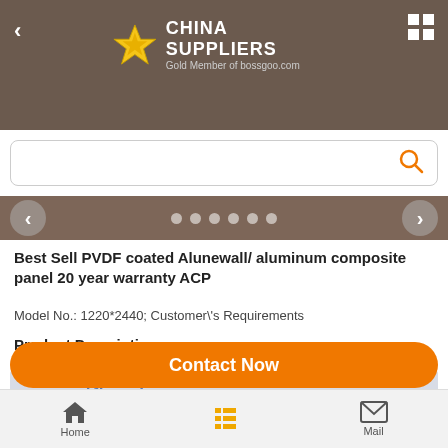[Figure (screenshot): China Suppliers mobile app header with gold star logo, CHINA SUPPLIERS text, Gold Member of bossgoo.com subtitle, search bar with orange search icon, navigation arrows and carousel dots]
Best Sell PVDF coated Alunewall/ aluminum composite panel 20 year warranty ACP
Model No.: 1220*2440; Customer\'s Requirements
Product Description
Specification
Contact Now
Home | (list icon) | Mail